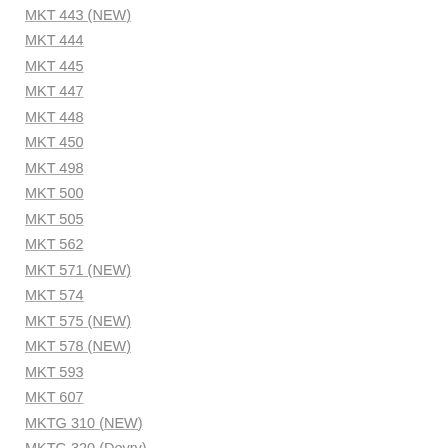MKT 443 (NEW)
MKT 444
MKT 445
MKT 447
MKT 448
MKT 450
MKT 498
MKT 500
MKT 505
MKT 562
MKT 571 (NEW)
MKT 574
MKT 575 (NEW)
MKT 578 (NEW)
MKT 593
MKT 607
MKTG 310 (NEW)
MKTG 320 (Devry)
MKTG 425 (NEW)